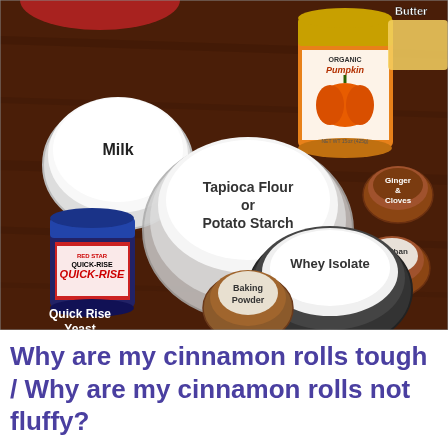[Figure (photo): Overhead flat-lay photo on a dark wood surface showing baking ingredients labeled with text: Milk (white bowl), Organic Pumpkin (can), Butter (partially visible), Tapioca Flour or Potato Starch (large glass bowl of white powder), Ginger & Cloves (small terra cotta bowl), Xanthan Gum (small terra cotta bowl), Quick Rise Yeast (jar of Red Star Quick-Rise yeast), Whey Isolate (black bowl of white powder), Baking Powder (small terra cotta bowl)]
Why are my cinnamon rolls tough / Why are my cinnamon rolls not fluffy?